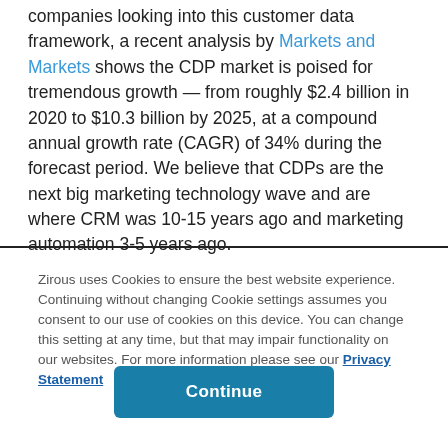companies looking into this customer data framework, a recent analysis by Markets and Markets shows the CDP market is poised for tremendous growth — from roughly $2.4 billion in 2020 to $10.3 billion by 2025, at a compound annual growth rate (CAGR) of 34% during the forecast period. We believe that CDPs are the next big marketing technology wave and are where CRM was 10-15 years ago and marketing automation 3-5 years ago.
Zirous uses Cookies to ensure the best website experience. Continuing without changing Cookie settings assumes you consent to our use of cookies on this device. You can change this setting at any time, but that may impair functionality on our websites. For more information please see our Privacy Statement